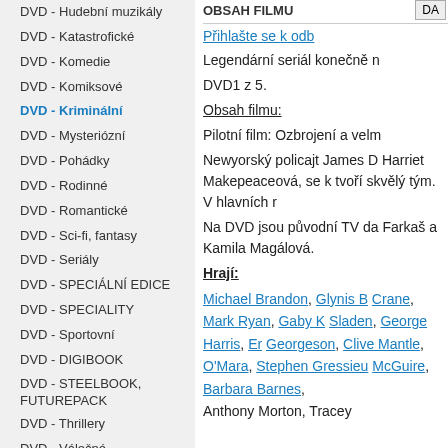DVD - Hudební muzikály
DVD - Katastrofické
DVD - Komedie
DVD - Komiksové
DVD - Kriminální (active)
DVD - Mysteriózní
DVD - Pohádky
DVD - Rodinné
DVD - Romantické
DVD - Sci-fi, fantasy
DVD - Seriály
DVD - SPECIÁLNÍ EDICE
DVD - SPECIALITY
DVD - Sportovní
DVD - DIGIBOOK
DVD - STEELBOOK, FUTUREPACK
DVD - Thrillery
DVD - Válečné
DVD - Westerny
BLURAY
ULTRA HD 4K BLURAY
VHS VIDEOKAZETY
OBSAH FILMU | DA
Přihlašte se k odb
Legendární seriál konečně n
DVD1 z 5.
Obsah filmu:
Pilotní film: Ozbrojení a velm
Newyorský policajt James D Harriet Makepeaceová, se k tvoří skvělý tým. V hlavních r
Na DVD jsou původní TV da Farkaš a Kamila Magálová.
Hrají:
Michael Brandon, Glynis B Crane, Mark Ryan, Gaby K Sladen, George Harris, Er Georgeson, Clive Mantle, O'Mara, Stephen Gressieu McGuire, Barbara Barnes, Anthony Morton, Tracey